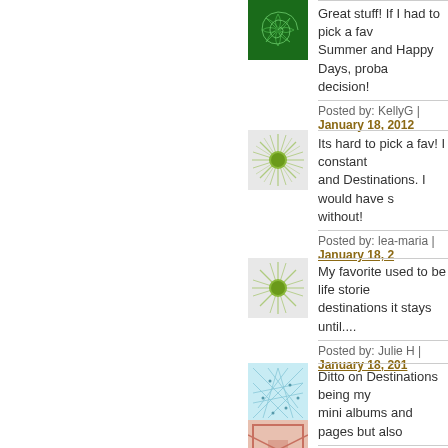[Figure (illustration): Green spiral pattern avatar icon]
Great stuff! If I had to pick a fav... Summer and Happy Days, proba... decision!
Posted by: KellyG | January 18, 201...
[Figure (illustration): Green sunburst pattern avatar icon]
Its hard to pick a fav! I constant... and Destinations. I would have s... without!
Posted by: lea-maria | January 18, 2...
[Figure (illustration): Green sunburst pattern avatar icon]
My favorite used to be life storie... destinations it stays until....
Posted by: Julie H | January 18, 201...
[Figure (illustration): Light blue web/network pattern avatar icon]
Ditto on Destinations being my... mini albums and pages but also...
Posted by: Memoriesbymanda | Jan...
[Figure (illustration): Red/pink pattern avatar icon (partially visible)]